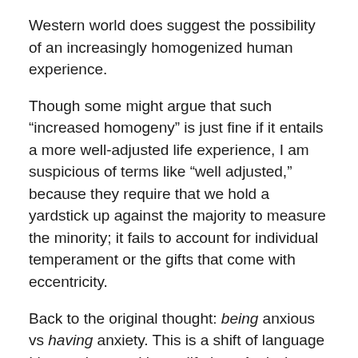Western world does suggest the possibility of an increasingly homogenized human experience.
Though some might argue that such “increased homogeny” is just fine if it entails a more well-adjusted life experience, I am suspicious of terms like “well adjusted,” because they require that we hold a yardstick up against the majority to measure the minority; it fails to account for individual temperament or the gifts that come with eccentricity.
Back to the original thought: being anxious vs having anxiety. This is a shift of language I have witnessed in my lifetime. And what a consequence the simple replacement of “having” with “being” implies: one is an emotion that passes through you, another is something you are stuck with, a state, part of your personality, even your identity.